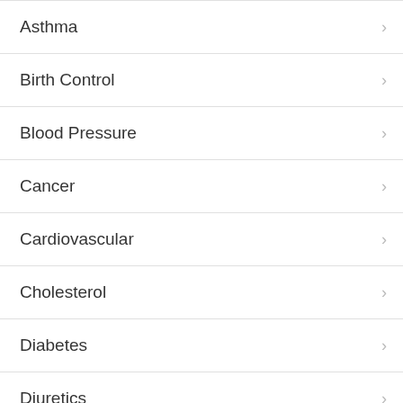Asthma
Birth Control
Blood Pressure
Cancer
Cardiovascular
Cholesterol
Diabetes
Diuretics
Erectile Dysfunction